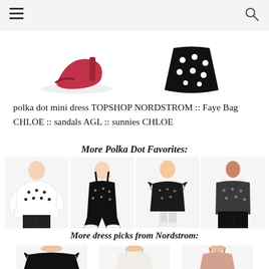Navigation bar with hamburger menu and search icon
[Figure (photo): Partial product images at top: red/pink sandals on left, black and white polka dot skirt on right]
polka dot mini dress TOPSHOP NORDSTROM :: Faye Bag CHLOE :: sandals AGL :: sunnies CHLOE
More Polka Dot Favorites:
[Figure (photo): Four product images in a row: white polka dot bell-sleeve top, black polka dot wide-leg jumpsuit, black/white polka dot ruffle dress, black sheer polka dot blouse]
More dress picks from Nordstrom:
[Figure (photo): Three partial product images at bottom: black off-shoulder ruffle dress, white/cream slip dress, blush/pink strappy dress]